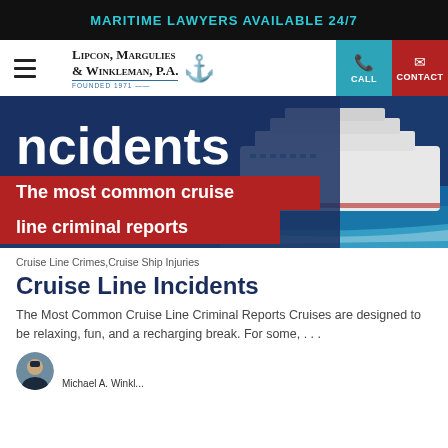MARITIME LAWYERS AVAILABLE 24/7
[Figure (logo): Lipcon, Margulies & Winkleman, P.A. Founded 1971 law firm logo with anchor icon, call and contact buttons]
[Figure (photo): Hero banner showing a large cruise ship on blue water, with overlaid text: 'ncidents' in white and 'The most common cruise line criminal reports' on red background]
Cruise Line Crimes, Cruise Ship Injuries
Cruise Line Incidents
The Most Common Cruise Line Criminal Reports Cruises are designed to be relaxing, fun, and a recharging break. For some, ...
[Figure (photo): Small circular author avatar photo of a man in a suit]
Michael A. Winkl...